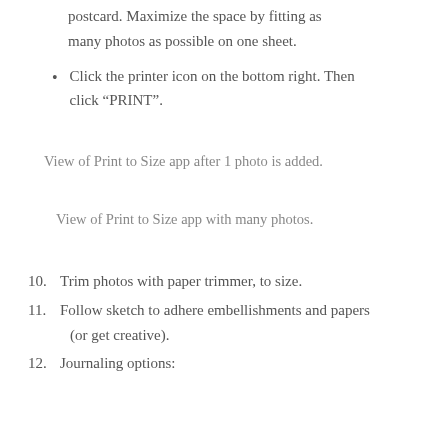postcard. Maximize the space by fitting as many photos as possible on one sheet.
Click the printer icon on the bottom right. Then click “PRINT”.
View of Print to Size app after 1 photo is added.
View of Print to Size app with many photos.
Trim photos with paper trimmer, to size.
Follow sketch to adhere embellishments and papers (or get creative).
Journaling options: